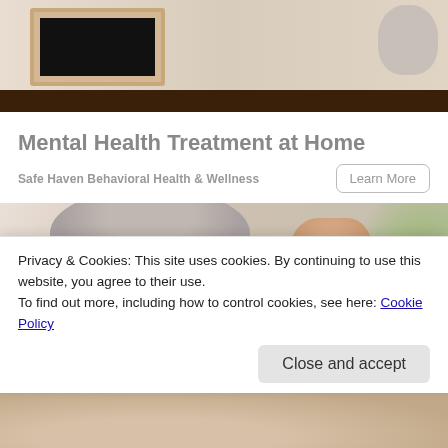[Figure (photo): Partial view of a wooden desk with a framed picture (black interior), and a decorative object on the right, dark wood surface at bottom]
Mental Health Treatment at Home
Safe Haven Behavioral Health & Wellness
[Figure (photo): Older woman with short gray hair holding up a white medicine bottle, examining it; green plant visible in background]
Privacy & Cookies: This site uses cookies. By continuing to use this website, you agree to their use.
To find out more, including how to control cookies, see here: Cookie Policy
[Figure (photo): Bottom portion of a person, partial view cut off at page bottom]